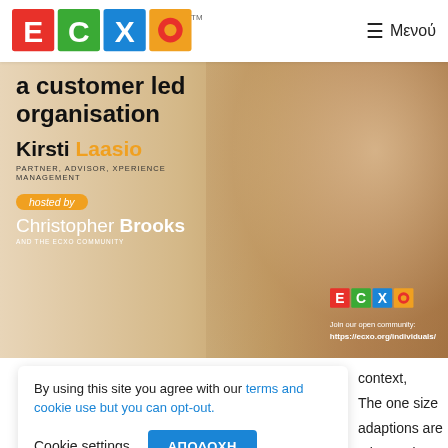ECXO | Μενού
[Figure (illustration): ECXO promotional banner featuring Kirsti Laasio, Partner Advisor Xperience Management, hosted by Christopher Brooks and the ECXO community. Text reads: 'a customer led organisation'. ECXO logo shown with community URL https://ecxo.org/individuals/]
By using this site you agree with our terms and cookie use but you can opt-out.
Cookie settings | ΑΠΟΔΟΧΗ
context, The one size adaptions are ating and e 'Experience across Europe
to the microphone to share their perspective, influenced by